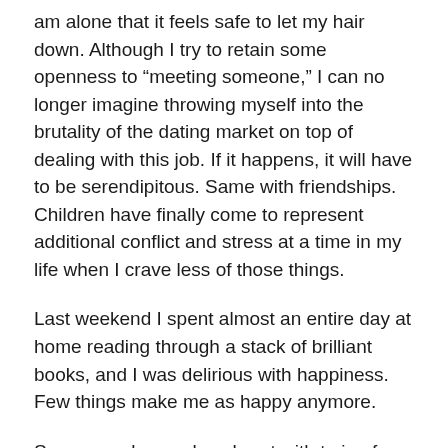am alone that it feels safe to let my hair down. Although I try to retain some openness to “meeting someone,” I can no longer imagine throwing myself into the brutality of the dating market on top of dealing with this job. If it happens, it will have to be serendipitous. Same with friendships. Children have finally come to represent additional conflict and stress at a time in my life when I crave less of those things.
Last weekend I spent almost an entire day at home reading through a stack of brilliant books, and I was delirious with happiness. Few things make me as happy anymore.
Some people may lose heart with trying for connection after their first brush with loss or disappointment; others bounce back time after time. I think I’ve finally reached my